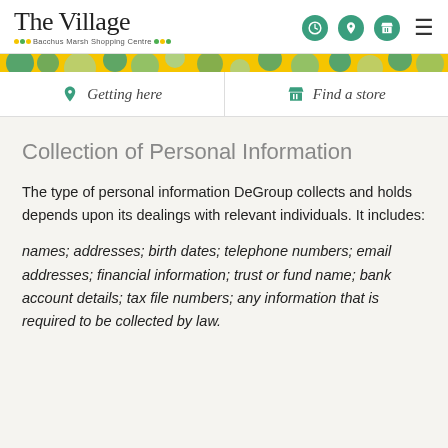[Figure (logo): The Village Bacchus Marsh Shopping Centre logo with green and yellow dots]
[Figure (infographic): Yellow and green decorative banner with geometric shapes]
Getting here | Find a store
Collection of Personal Information
The type of personal information DeGroup collects and holds depends upon its dealings with relevant individuals. It includes:
names; addresses; birth dates; telephone numbers; email addresses; financial information; trust or fund name; bank account details; tax file numbers; any information that is required to be collected by law.